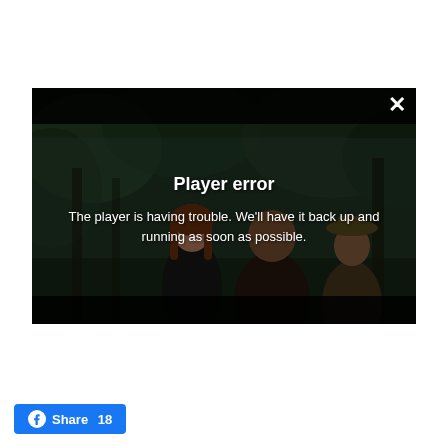[Figure (screenshot): Video player showing a movie scene with three people in a jungle setting. A 'Player error' message overlay is displayed in the center of the player, with a close (X) button in the top right corner and black bars at top and bottom.]
Player error
The player is having trouble. We'll have it back up and running as soon as possible.
[Figure (other): Facebook Share button with count '18']